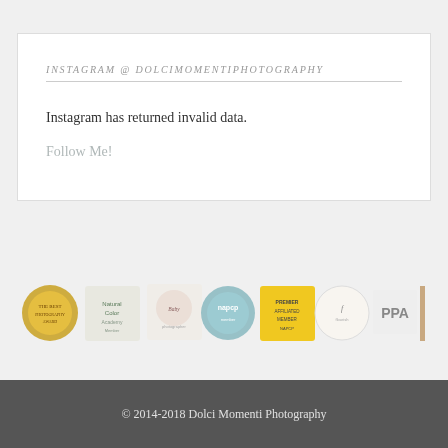INSTAGRAM @ DOLCIMOMENTIPHOTOGRAPHY
Instagram has returned invalid data.
Follow Me!
[Figure (logo): A horizontal strip of photography association badges and award logos including a gold seal, Napcp, PPA, and several other photography organization badges, plus two small portrait photos.]
© 2014-2018 Dolci Momenti Photography